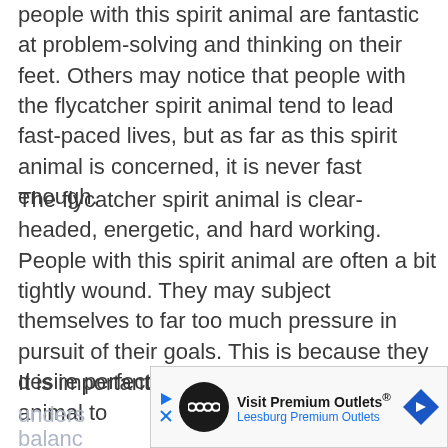people with this spirit animal are fantastic at problem-solving and thinking on their feet. Others may notice that people with the flycatcher spirit animal tend to lead fast-paced lives, but as far as this spirit animal is concerned, it is never fast enough.
The flycatcher spirit animal is clear-headed, energetic, and hard working. People with this spirit animal are often a bit tightly wound. They may subject themselves to far too much pressure in pursuit of their goals. This is because they desire perfection.
It is important for people with this spirit animal to understand... seek out balance... portant,
[Figure (other): Advertisement banner for Visit Premium Outlets - Leesburg Premium Outlets, with a navigation arrow icon and infinity loop logo]